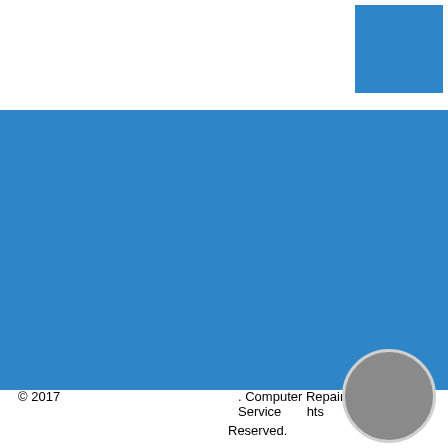[Figure (other): Blue square graphic in top-right corner]
[Figure (other): Large blue rectangular banner spanning full width]
© 2017                    . Computer Repair Service All Rights Reserved.